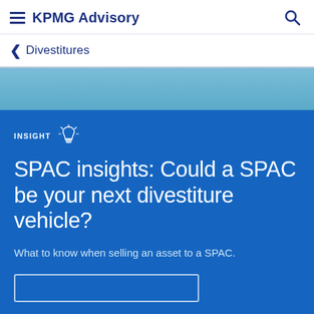KPMG Advisory
Divestitures
INSIGHT
SPAC insights: Could a SPAC be your next divestiture vehicle?
What to know when selling an asset to a SPAC.